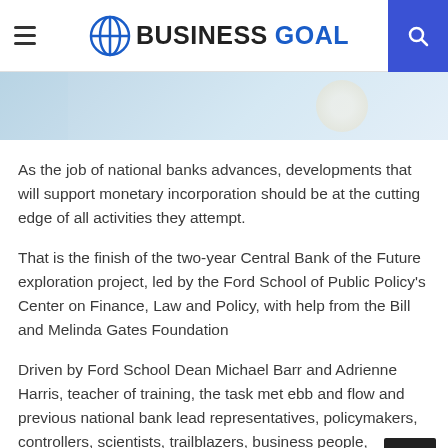BUSINESS GOAL
[Figure (photo): Partial image strip showing a light blue/sky themed background with a partial circular shape on the right side]
As the job of national banks advances, developments that will support monetary incorporation should be at the cutting edge of all activities they attempt.
That is the finish of the two-year Central Bank of the Future exploration project, led by the Ford School of Public Policy’s Center on Finance, Law and Policy, with help from the Bill and Melinda Gates Foundation
Driven by Ford School Dean Michael Barr and Adrienne Harris, teacher of training, the task met ebb and flow and previous national bank lead representatives, policymakers, controllers, scientists, trailblazers, business people, customer and local area association